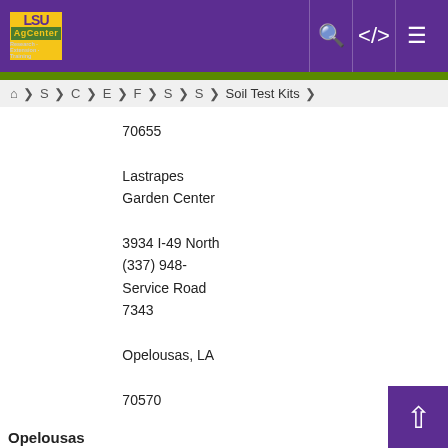LSU AgCenter - Soil Test Kits
S > C > E > F > S > S > Soil Test Kits
| City | Store/Address | Phone | Hours |
| --- | --- | --- | --- |
| Opelousas | Lastrapes Garden Center
3934 I-49 North Service Road
Opelousas, LA 70570
70655 | (337) 948-7343 |  |
| Pearl River | Affordable Supply Geaar
67518 Lou Lane
Pearl River, LA 70452 | (985) 863-5787 | Monday-Friday 9am-6pm
Saturday 9am-5pm |
|  | Austin Ag Supply
11154 Hwy 285 |  | Monday-Friday |